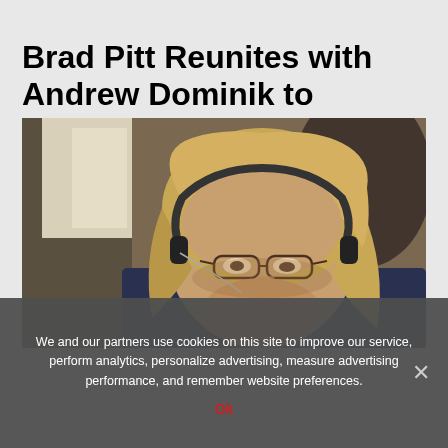Brad Pitt Reunites with Andrew Dominik to Produce
[Figure (photo): A man with long blonde hair, glasses, and headphones, photographed from a low angle in a dimly lit indoor setting. He appears to be a film director on set.]
We and our partners use cookies on this site to improve our service, perform analytics, personalize advertising, measure advertising performance, and remember website preferences.
Ok